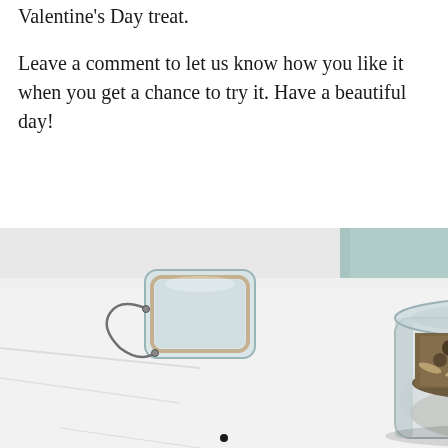Valentine's Day treat.
Leave a comment to let us know how you like it when you get a chance to try it. Have a beautiful day!
[Figure (photo): A glass jar with a wire bail latch, open and overflowing with dark granola clusters containing oats, seeds, and nuts, placed on a light white/grey surface. The jar lid is propped open to the left.]